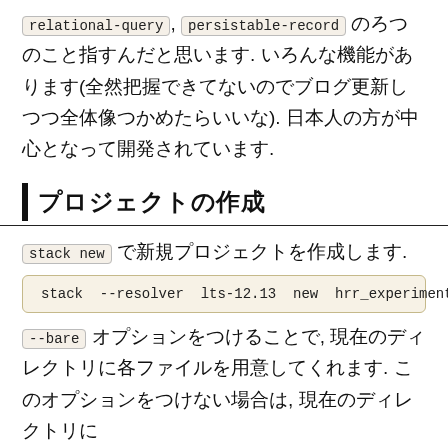relational-query, persistable-record のろつのこと指すんだと思います. いろんな機能があります(全然把握できてないのでブログ更新しつつ全体像つかめたらいいな). 日本人の方が中心となって開発されています.
プロジェクトの作成
stack new で新規プロジェクトを作成します.
stack --resolver lts-12.13 new hrr_experiment
--bare オプションをつけることで, 現在のディレクトリに各ファイルを用意してくれます. このオプションをつけない場合は, 現在のディレクトリに